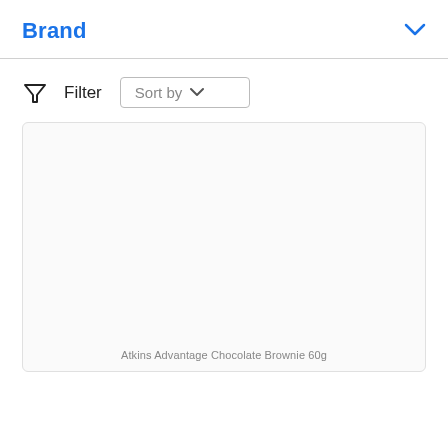Brand
Filter  Sort by
[Figure (screenshot): Product card placeholder for Atkins Advantage Chocolate Brownie 60g, shown as a large light gray/white box]
Atkins Advantage Chocolate Brownie 60g